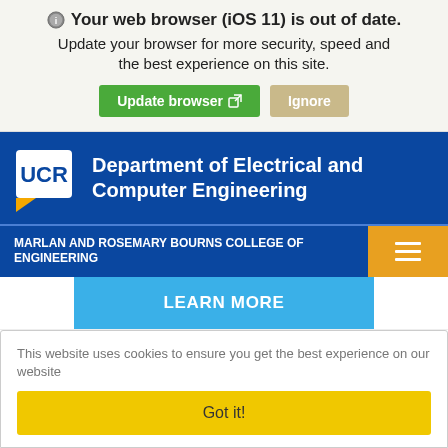Your web browser (iOS 11) is out of date. Update your browser for more security, speed and the best experience on this site.
Update browser  Ignore
[Figure (logo): UCR logo - white UCR letters on blue background with yellow accent, followed by 'Department of Electrical and Computer Engineering' in white text on blue background]
MARLAN AND ROSEMARY BOURNS COLLEGE OF ENGINEERING
LEARN MORE
This website uses cookies to ensure you get the best experience on our website
Got it!